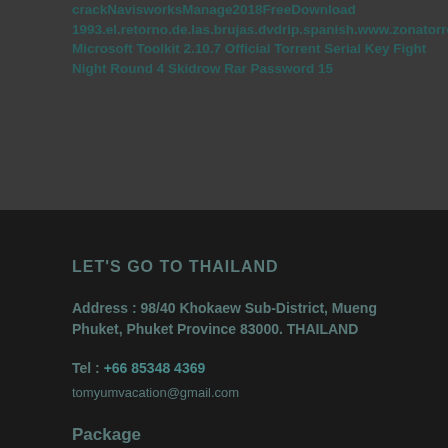crackNavisworksManage2018FreeDownload 1993.el.retorno.de.las.brujas.dvdrip.spanish.www.zonatorrent.com.23
Microsoft Toolkit 2.10.7 Official Torrent Serial Key Fight Night Round 4 Skidrow Rar Password 15
LET'S GO TO THAILAND
Address : 98/40 Khokaew Sub-District, Mueng Phuket, Phuket Province 83000. THAILAND
Tel : +66 85348 4369
tomyumvacation@gmail.com
Package